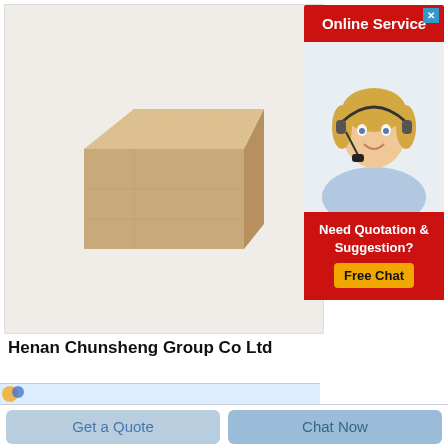[Figure (logo): Rongsheng company logo - colorful spheres icon with text 'Rongsheng']
[Figure (photo): Product photo of a light brown/tan firebrick or refractory brick, rectangular block shape, on white background]
Henan Chunsheng Group Co Ltd
Henan Chunsheng Group Co Ltd
Experts in Manufacturing and Exporting
[Figure (infographic): Get Price button - red border, orange-red text 'Get Price' on white background]
[Figure (infographic): Online Service advertisement banner with red header 'Online Service', close X button, photo of blonde woman with headset smiling, red section with text 'Need Quotation & Suggestion?' and yellow 'Free Chat' button]
[Figure (infographic): Bottom navigation bar with two buttons: 'Get a Quote' and 'Chat Now' on light blue background]